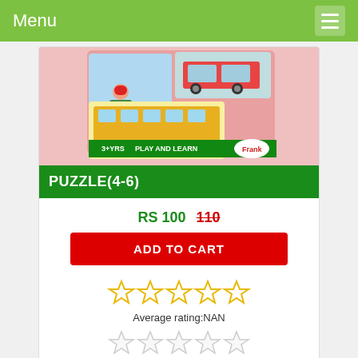Menu
[Figure (photo): Product image of a children's puzzle box showing vehicles: a scooter rider, a red car, and a bus. The box reads '3+YRS PLAY AND LEARN Frank' on a pink background.]
PUZZLE(4-6)
RS 100 110
ADD TO CART
Average rating:NAN